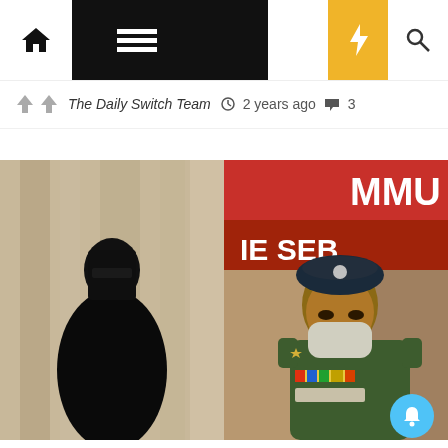Navigation bar with home icon, hamburger menu, dark mode toggle, lightning bolt, and search icon
The Daily Switch Team  2 years ago  3
[Figure (photo): Two-photo composite: left side shows a person fully dressed in a black niqab/burqa standing in front of a stone building; right side shows a police officer in green uniform with a beret and face mask, standing in front of a red banner reading 'MMU' and 'IE SEB']
Culture
Burqa-Wearing Terrorist Among Four That Gunned Down Cop In Kashmir